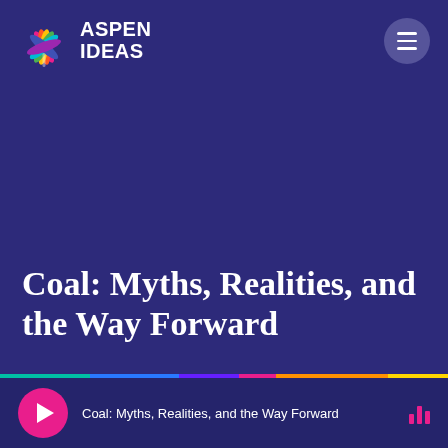[Figure (logo): Aspen Ideas colorful leaf logo with text ASPEN IDEAS in white bold font]
Coal: Myths, Realities, and the Way Forward
Coal: Myths, Realities, and the Way Forward